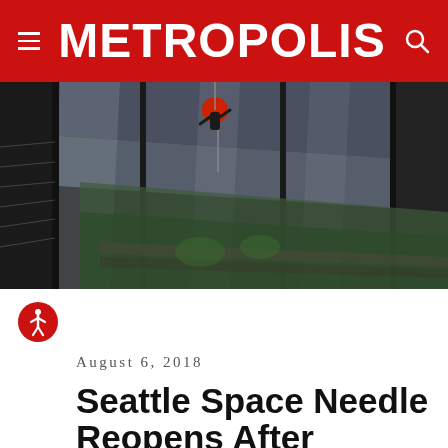METROPOLIS
[Figure (photo): A person rappelling or suspended on the exterior glass surface of a tall building, with a city street and green park visible far below through angled glass panels.]
August 6, 2018
Seattle Space Needle Reopens After Dizzying Redesign by